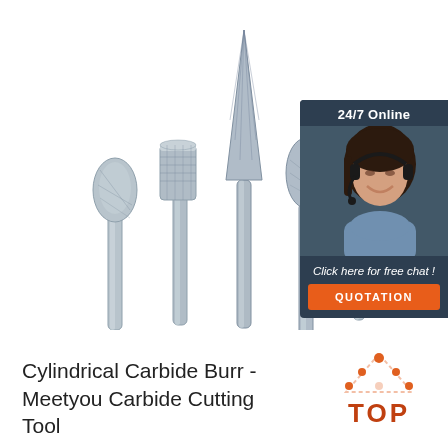[Figure (photo): Five carbide burr cutting tools with metallic shank handles and various shaped tips (oval, cylindrical, cone, teardrop, ball) arranged in a fan pattern against a white background]
[Figure (illustration): Customer service chat widget showing a woman with headset, '24/7 Online' header, 'Click here for free chat!' text, and an orange QUOTATION button on a dark navy background]
[Figure (logo): TOP logo with orange triangle made of dots above the letters TOP in dark orange/red]
Cylindrical Carbide Burr - Meetyou Carbide Cutting Tool